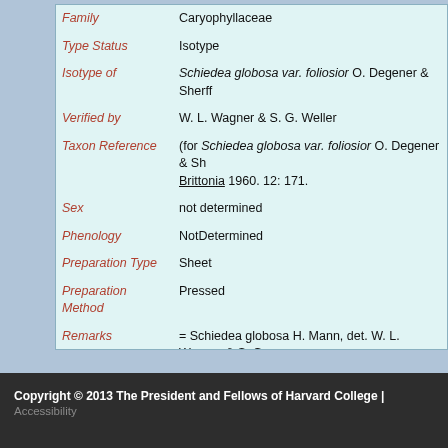| Field | Value |
| --- | --- |
| Family | Caryophyllaceae |
| Type Status | Isotype |
| Isotype of | Schiedea globosa var. foliosior O. Degener & Sherff |
| Verified by | W. L. Wagner & S. G. Weller |
| Taxon Reference | (for Schiedea globosa var. foliosior O. Degener & Sh... Brittonia 1960. 12: 171. |
| Sex | not determined |
| Phenology | NotDetermined |
| Preparation Type | Sheet |
| Preparation Method | Pressed |
| Remarks | = Schiedea globosa H. Mann, det. W. L. Wagner & S. G. |
Copyright © 2013 The President and Fellows of Harvard College | Accessibility